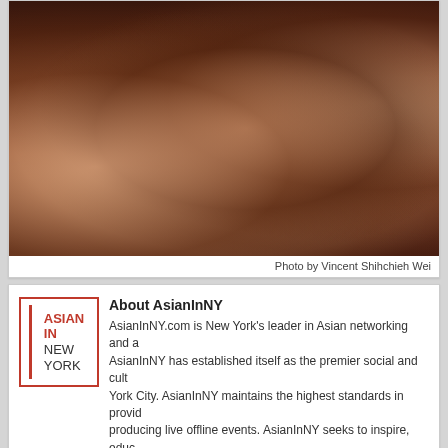[Figure (photo): Three Asian women smiling at an event; the middle one is making a peace sign. Dark background suggesting indoor nighttime event. Photo credit: Vincent Shihchieh Wei.]
Photo by Vincent Shihchieh Wei
[Figure (logo): AsianInNY logo: red text ASIAN IN NEW YORK with red vertical bar and red border box]
About AsianInNY
AsianInNY.com is New York's leader in Asian networking and a... AsianInNY has established itself as the premier social and cult... York City. AsianInNY maintains the highest standards in provid... producing live offline events. AsianInNY seeks to inspire, educ... using a versatile platform that engages our audience via a mu... showcases the best of New York City. Our pages are updated ... news, events, interviews, and more. AsianInNY: Connect with ...